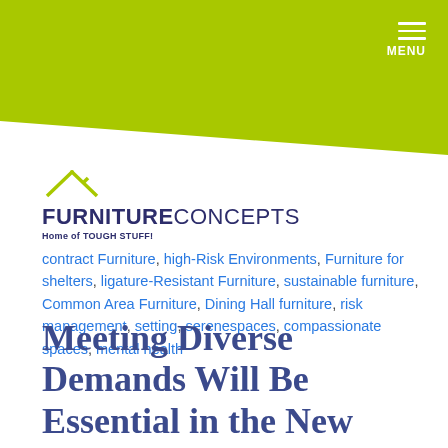MENU
[Figure (logo): Furniture Concepts logo with house icon and tagline 'Home of TOUGH STUFF!']
contract Furniture, high-Risk Environments, Furniture for shelters, ligature-Resistant Furniture, sustainable furniture, Common Area Furniture, Dining Hall furniture, risk management, setting, serenespaces, compassionate spaces, mental health
Meeting Diverse Demands Will Be Essential in the New Year
Posted by Ashley Martin on Fri, Jan 07, 2022 @ 09:15 AM